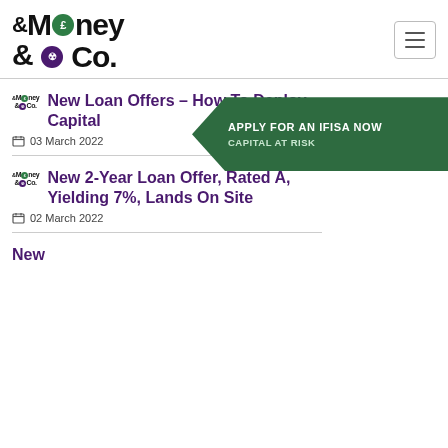[Figure (logo): Money&Co. logo with green pound coin and purple person icon]
[Figure (other): Hamburger menu icon button]
New Loan Offers – How To Deploy Capital
03 March 2022
[Figure (other): Green arrow banner: APPLY FOR AN IFISA NOW / CAPITAL AT RISK]
New 2-Year Loan Offer, Rated A, Yielding 7%, Lands On Site
02 March 2022
New